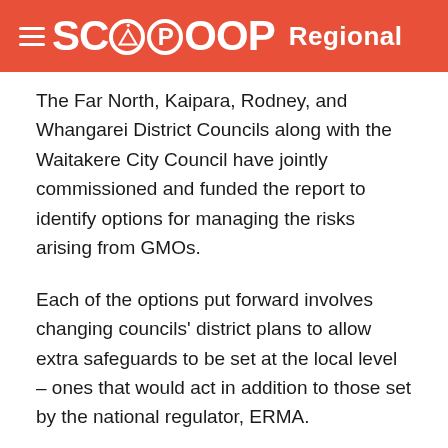SCOOP Regional
The Far North, Kaipara, Rodney, and Whangarei District Councils along with the Waitakere City Council have jointly commissioned and funded the report to identify options for managing the risks arising from GMOs.
Each of the options put forward involves changing councils' district plans to allow extra safeguards to be set at the local level – ones that would act in addition to those set by the national regulator, ERMA.
The options the report evaluates are: making all GMO land uses discretionary activities, prohibiting all GMO land uses, and two others that would make some